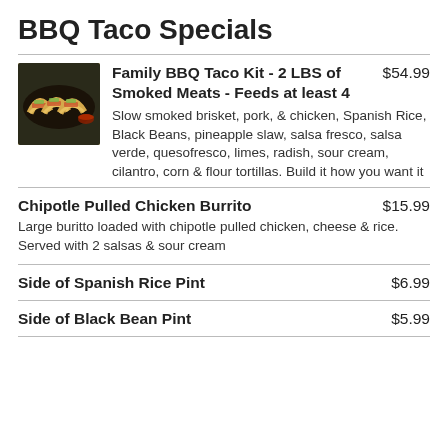BBQ Taco Specials
[Figure (photo): Photo of BBQ tacos with meats and toppings on a dark plate]
Family BBQ Taco Kit - 2 LBS of Smoked Meats - Feeds at least 4
$54.99
Slow smoked brisket, pork, & chicken, Spanish Rice, Black Beans, pineapple slaw, salsa fresco, salsa verde, quesofresco, limes, radish, sour cream, cilantro, corn & flour tortillas. Build it how you want it
Chipotle Pulled Chicken Burrito
$15.99
Large buritto loaded with chipotle pulled chicken, cheese & rice. Served with 2 salsas & sour cream
Side of Spanish Rice Pint
$6.99
Side of Black Bean Pint
$5.99